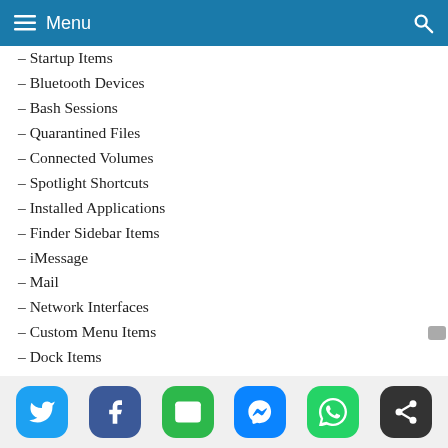Menu
– Startup Items
– Bluetooth Devices
– Bash Sessions
– Quarantined Files
– Connected Volumes
– Spotlight Shortcuts
– Installed Applications
– Finder Sidebar Items
– iMessage
– Mail
– Network Interfaces
– Custom Menu Items
– Dock Items
– Calendars (iCS)
New Mobile Artifacts
– Disco... (iOS/Android)